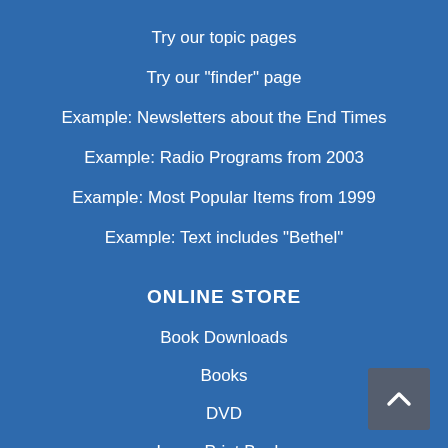Try our topic pages
Try our "finder" page
Example: Newsletters about the End Times
Example: Radio Programs from 2003
Example: Most Popular Items from 1999
Example: Text includes "Bethel"
ONLINE STORE
Book Downloads
Books
DVD
Large Print Books